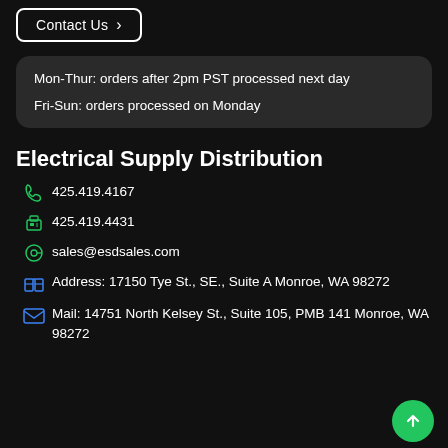Contact Us >
Mon-Thur: orders after 2pm PST processed next day
Fri-Sun: orders processed on Monday
Electrical Supply Distribution
425.419.4167
425.419.4431
sales@esdsales.com
Address: 17150 Tye St., SE., Suite A Monroe, WA 98272
Mail: 14751 North Kelsey St., Suite 105, PMB 141 Monroe, WA 98272